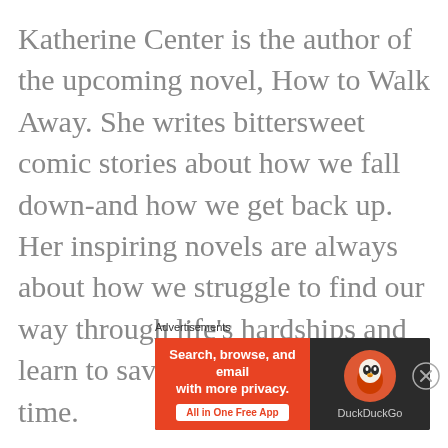Katherine Center is the author of the upcoming novel, How to Walk Away. She writes bittersweet comic stories about how we fall down-and how we get back up. Her inspiring novels are always about how we struggle to find our way through life's hardships and learn to savor its joys at the same time.
Advertisements
[Figure (other): DuckDuckGo advertisement banner: orange left panel with text 'Search, browse, and email with more privacy. All in One Free App' and a button, dark right panel with DuckDuckGo duck logo]